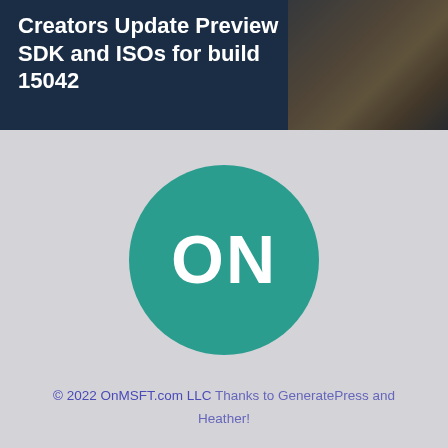Creators Update Preview SDK and ISOs for build 15042
[Figure (logo): OnMSFT logo: teal circle with white 'ON' text]
© 2022 OnMSFT.com LLC Thanks to GeneratePress and Heather!